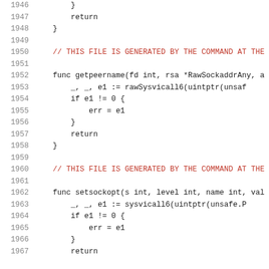1946    }
1947        return
1948    }
1949
1950    // THIS FILE IS GENERATED BY THE COMMAND AT THE
1951
1952    func getpeername(fd int, rsa *RawSockaddrAny, a
1953        _, _, e1 := rawSysvicall6(uintptr(unsaf
1954        if e1 != 0 {
1955            err = e1
1956        }
1957        return
1958    }
1959
1960    // THIS FILE IS GENERATED BY THE COMMAND AT THE
1961
1962    func setsockopt(s int, level int, name int, val
1963        _, _, e1 := sysvicall6(uintptr(unsafe.P
1964        if e1 != 0 {
1965            err = e1
1966        }
1967        return